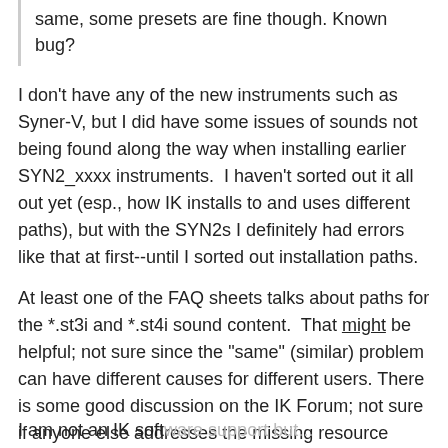same, some presets are fine though. Known bug?
I don't have any of the new instruments such as Syner-V, but I did have some issues of sounds not being found along the way when installing earlier SYN2_xxxx instruments.  I haven't sorted out it all out yet (esp., how IK installs to and uses different paths), but with the SYN2s I definitely had errors like that at first--until I sorted out installation paths.
At least one of the FAQ sheets talks about paths for the *.st3i and *.st4i sound content.  That might be helpful; not sure since the "same" (similar) problem can have different causes for different users. There is some good discussion on the IK Forum; not sure if anyone else addresses the missing resource issue.
There's always the option of opening a dialog with IK support.
I am not an IK software support but...